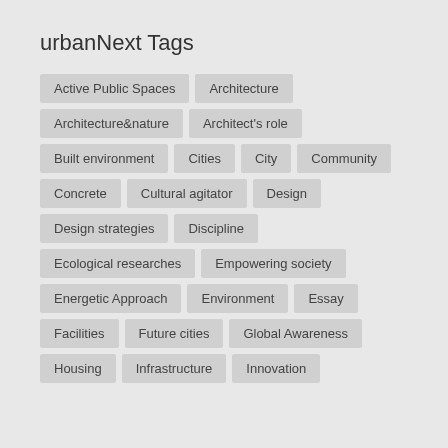urbanNext Tags
Active Public Spaces
Architecture
Architecture&nature
Architect's role
Built environment
Cities
City
Community
Concrete
Cultural agitator
Design
Design strategies
Discipline
Ecological researches
Empowering society
Energetic Approach
Environment
Essay
Facilities
Future cities
Global Awareness
Housing
Infrastructure
Innovation